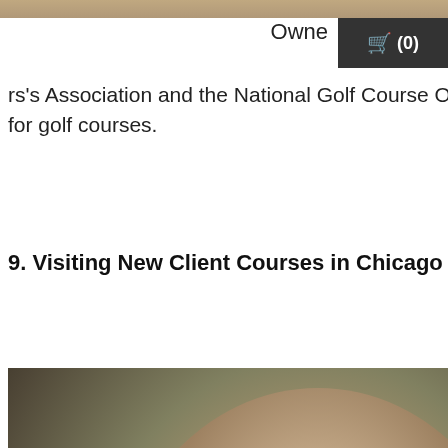[Figure (photo): Partial top image strip - appears to be a cropped photo at the very top of the page]
Owne
rs's Association and the National Golf Course Owner's Association Arizona on digital marketing for golf courses.
9. Visiting New Client Courses in Chicago and San Jose
[Figure (photo): Professional headshot of a man with beard and light blue shirt, sitting in an airplane seat, with a Welborn Media Project logo overlay at the bottom]
One of the coolest things we did this year was add